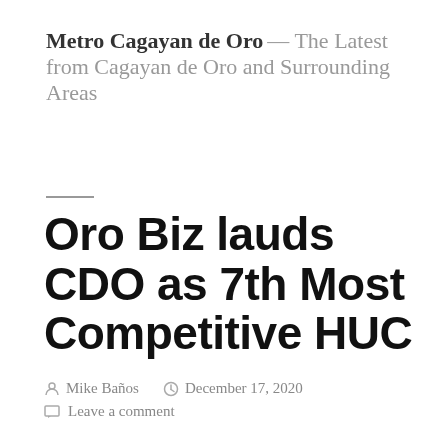Metro Cagayan de Oro — The Latest from Cagayan de Oro and Surrounding Areas
Oro Biz lauds CDO as 7th Most Competitive HUC
Mike Baños  December 17, 2020  Leave a comment